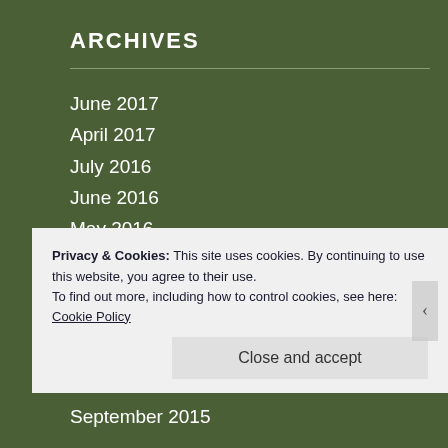ARCHIVES
June 2017
April 2017
July 2016
June 2016
May 2016
March 2016
February 2016
January 2016
November 2015
October 2015
September 2015
Privacy & Cookies: This site uses cookies. By continuing to use this website, you agree to their use.
To find out more, including how to control cookies, see here: Cookie Policy
Close and accept